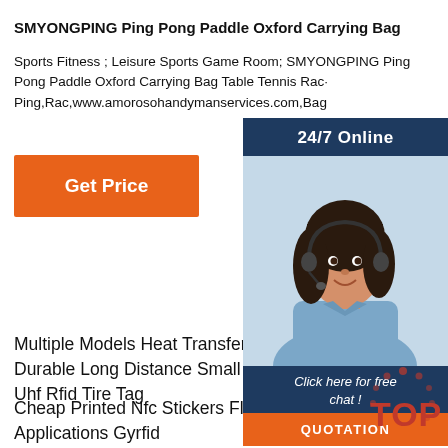SMYONGPING Ping Pong Paddle Oxford Carrying Bag
Sports Fitness ; Leisure Sports Game Room; SMYONGPING Ping Pong Paddle Oxford Carrying Bag Table Tennis Rac· Ping,Rac,www.amorosohandymanservices.com,Bag
[Figure (infographic): 24/7 Online customer service chat widget with photo of woman wearing headset, 'Click here for free chat!' text, and orange QUOTATION button]
Get Price
Multiple Models Heat Transfer Label Print· Durable Long Distance Small Alien H3 Pa· Uhf Rfid Tire Tag
Cheap Printed Nfc Stickers Flexible Rfid Tag Nfc Applications Gyrfid
Adjustable High Temperature Washable Nfc Button Laundry Tag Waterproof Rfid Chip
Sell Like Hot Cakes High Temperature Resistance